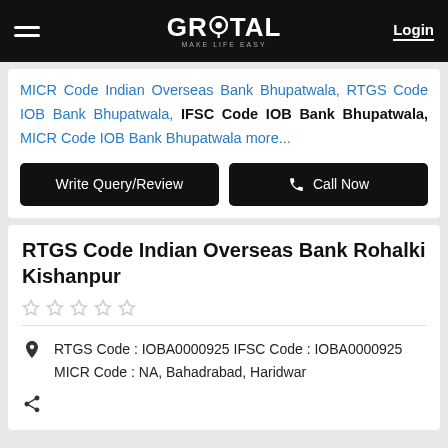GROTAL MAKE LIFE EASY | Login
MICR Code Indian Overseas Bank Bhupatwala, RTGS Code IOB Bank Bhupatwala, IFSC Code IOB Bank Bhupatwala, MICR Code IOB Bank Bhupatwala more...
Write Query/Review | Call Now
RTGS Code Indian Overseas Bank Rohalki Kishanpur
RTGS Code : IOBA0000925 IFSC Code : IOBA0000925 MICR Code : NA, Bahadrabad, Haridwar